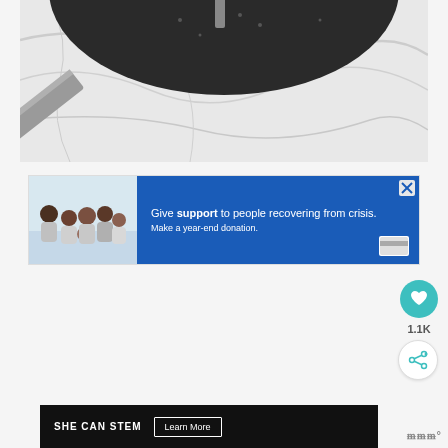[Figure (photo): Overhead view of a dark speckled non-stick frying pan on a white marble surface with a knife handle visible in the lower left]
[Figure (infographic): Advertisement banner: family photo on left, blue background on right with text 'Give support to people recovering from crisis. Make a year-end donation.' with a close X button and credit card icon]
[Figure (other): Circular teal heart/like button]
1.1K
[Figure (other): Circular share button with share icon]
[Figure (infographic): Black banner advertisement: 'SHE CAN STEM' with 'Learn More' button, and logo 'nnn°' on the right]